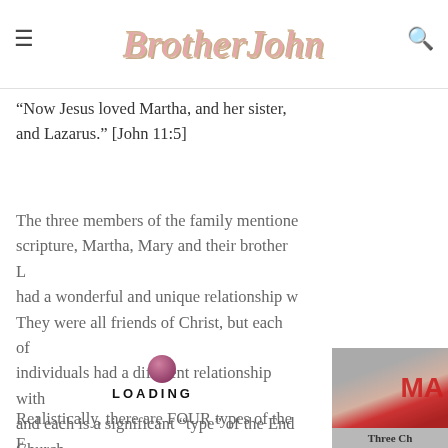BrotherJohn
“Now Jesus loved Martha, and her sister, and Lazarus.” [John 11:5]
The three members of the family mentioned in scripture, Martha, Mary and their brother Lazarus, had a wonderful and unique relationship with Christ. They were all friends of Christ, but each of the individuals had a different relationship with Him, and each is a significant “type” of the End Time Church.
[Figure (photo): Partial photo of a sign or book cover with red text reading 'MA' visible, alongside a decorative image. Caption reads 'Three Ch'.]
Realistically, there are FOUR types of the End Time Church. However, I will not speak about the